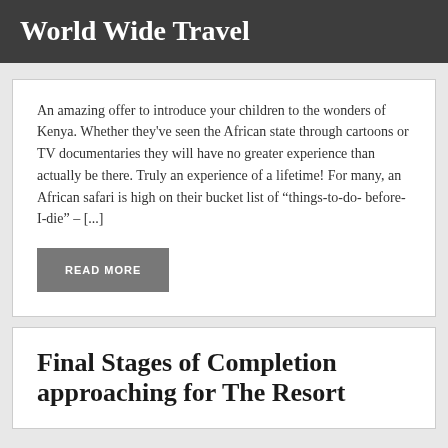World Wide Travel
An amazing offer to introduce your children to the wonders of Kenya. Whether they've seen the African state through cartoons or TV documentaries they will have no greater experience than actually be there. Truly an experience of a lifetime! For many, an African safari is high on their bucket list of “things-to-do- before- I-die” – [...]
READ MORE
Final Stages of Completion approaching for The Resort